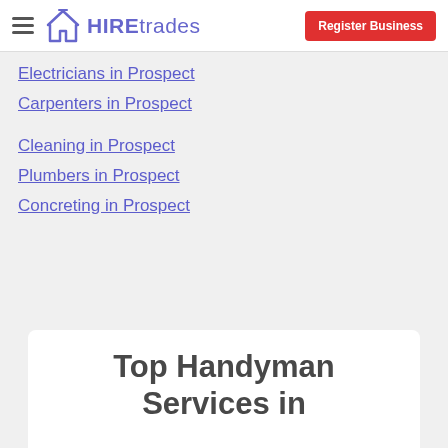HIREtrades — Register Business
Electricians in Prospect
Carpenters in Prospect
Cleaning in Prospect
Plumbers in Prospect
Concreting in Prospect
Top Handyman Services in